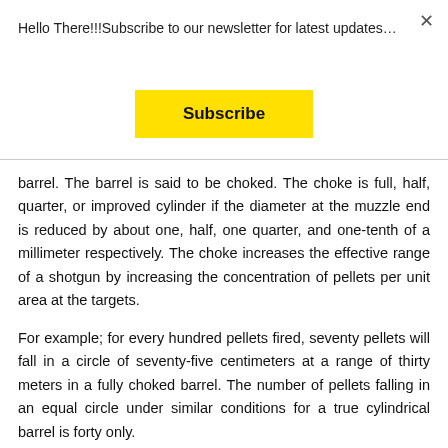Hello There!!!Subscribe to our newsletter for latest updates…
[Figure (other): Yellow Subscribe button]
barrel. The barrel is said to be choked. The choke is full, half, quarter, or improved cylinder if the diameter at the muzzle end is reduced by about one, half, one quarter, and one-tenth of a millimeter respectively. The choke increases the effective range of a shotgun by increasing the concentration of pellets per unit area at the targets.
For example; for every hundred pellets fired, seventy pellets will fall in a circle of seventy-five centimeters at a range of thirty meters in a fully choked barrel. The number of pellets falling in an equal circle under similar conditions for a true cylindrical barrel is forty only.